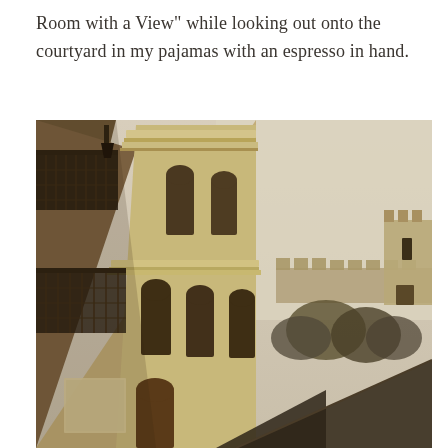Room with a View" while looking out onto the courtyard in my pajamas with an espresso in hand.
[Figure (photo): A sepia-toned photograph taken looking up at the facade of an old Italian-style building with ornate cornices, arched windows, and wrought-iron balconies. In the background, medieval castle battlements and a tower are visible on a hilltop, with bare trees below. The sky is pale and overcast.]